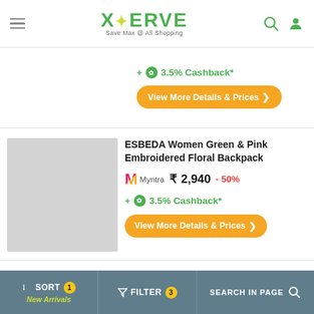XERVE - Save Max @ All Shopping
+ 3.5% Cashback*
View More Details & Prices
ESBEDA Women Green & Pink Embroidered Floral Backpack
[Figure (photo): Product image placeholder - gray rectangle]
Myntra ₹ 2,940 - 50%
+ 3.5% Cashback*
View More Details & Prices
SORT New Arrivals | FILTER 3 | SEARCH IN PAGE